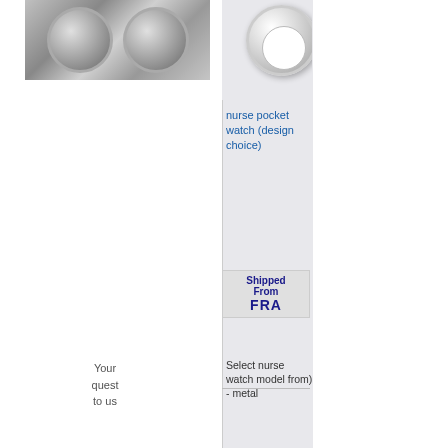[Figure (photo): Product photo of chrome wheel rims, two circular chrome wheels visible against a gray background]
[Figure (photo): Product photo of a nurse pocket watch, round silver watch face visible]
nurse pocket watch (design choice)
Select nurse watch model from) - metal
Shipped From FRA
Your quest to us